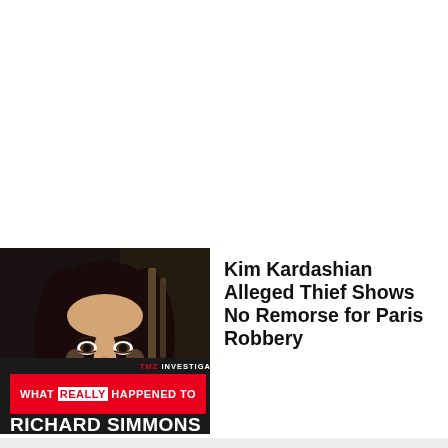[Figure (photo): Photo of Kim Kardashian with dark hair, looking forward against a dark background. Below the photo is a TMZ Investigates promotional banner for 'What Really Happened to Richard Simmons, Tomorrow on Fox'.]
Kim Kardashian Alleged Thief Shows No Remorse for Paris Robbery